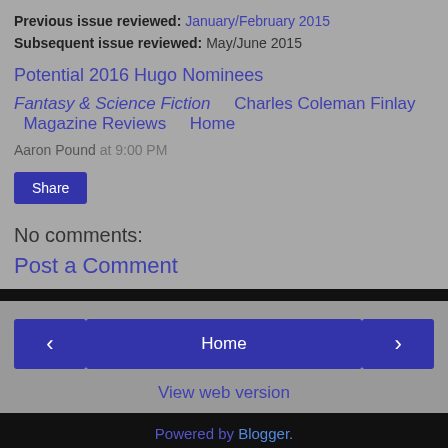Previous issue reviewed: January/February 2015
Subsequent issue reviewed: May/June 2015
Potential 2016 Hugo Nominees
Fantasy & Science Fiction    Charles Coleman Finlay    Magazine Reviews    Home
Aaron Pound at 9:00 PM
Share
No comments:
Post a Comment
‹  Home  ›
View web version
Powered by Blogger.